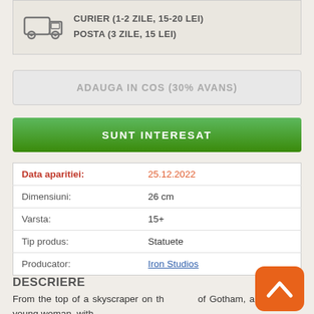DATA LIMITA: 18.05.2022
[Figure (infographic): Delivery info box with truck icon showing CURIER (1-2 ZILE, 15-20 LEI) and POSTA (3 ZILE, 15 LEI)]
ADAUGA IN COS (30% AVANS)
SUNT INTERESAT
| Data aparitiei: | 25.12.2022 |
| Dimensiuni: | 26 cm |
| Varsta: | 15+ |
| Tip produs: | Statuete |
| Producator: | Iron Studios |
DESCRIERE
From the top of a skyscraper on the roofs of Gotham, a red-haired young woman, with ferocious eyes and a no quick smile, watches over